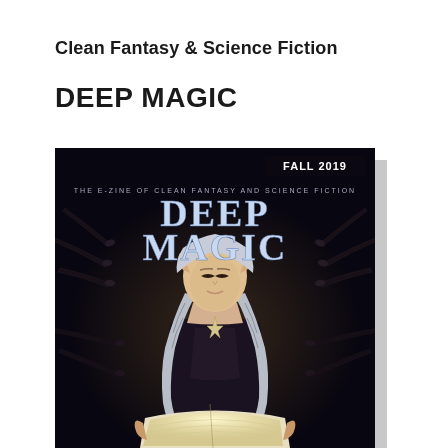Clean Fantasy & Science Fiction
DEEP MAGIC
[Figure (illustration): Magazine cover of Deep Magic, Fall 2019 issue. Shows a young elf girl with silver braided hair, wearing a dark dress, reading a glowing book. Dark clawed hands reach in from the sides. Text reads 'THE E-ZINE OF CLEAN FANTASY AND SCIENCE FICTION' and 'DEEP MAGIC' in large fantasy lettering, with 'FALL 2019' in the top right corner.]